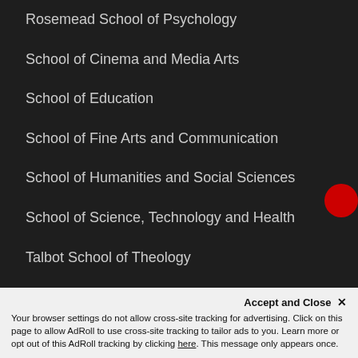Rosemead School of Psychology
School of Cinema and Media Arts
School of Education
School of Fine Arts and Communication
School of Humanities and Social Sciences
School of Science, Technology and Health
Talbot School of Theology
Academic Centers
Center for Christian Thought
Your browser settings do not allow cross-site tracking for advertising. Click on this page to allow AdRoll to use cross-site tracking to tailor ads to you. Learn more or opt out of this AdRoll tracking by clicking here. This message only appears once.